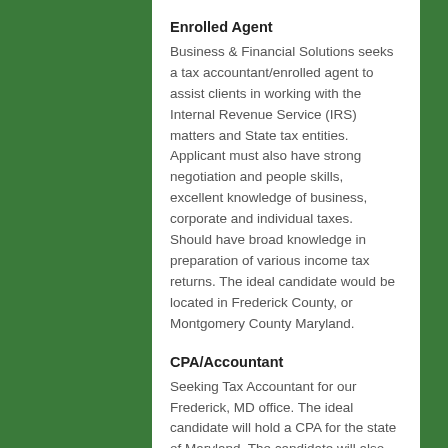Enrolled Agent
Business & Financial Solutions seeks a tax accountant/enrolled agent to assist clients in working with the Internal Revenue Service (IRS) matters and State tax entities. Applicant must also have strong negotiation and people skills, excellent knowledge of business, corporate and individual taxes. Should have broad knowledge in preparation of various income tax returns. The ideal candidate would be located in Frederick County, or Montgomery County Maryland.
CPA/Accountant
Seeking Tax Accountant for our Frederick, MD office. The ideal candidate will hold a CPA for the state of Maryland. The candidate will also have some experience in the preparation of corporate and estate tax returns. Enrolled Agent status with the IRS is also helpful as a qualification though not required as a CPA.
Business & Financial Solutions is constantly